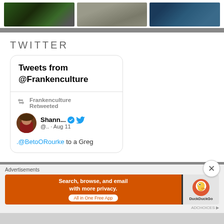[Figure (photo): Three photos in a strip: person in green jacket on left, grey fabric/clothing in center, person in blue on right]
TWITTER
[Figure (screenshot): Twitter widget showing tweets from @Frankenculture. Contains a retweet from Frankenculture of Shann... @.. Aug 11 with text '.@BetoORourke to a Greg']
Advertisements
[Figure (other): DuckDuckGo advertisement banner: Search, browse, and email with more privacy. All in One Free App. DuckDuckGo logo on right side.]